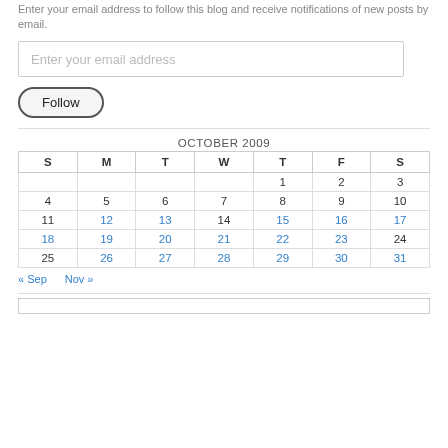Enter your email address to follow this blog and receive notifications of new posts by email.
Enter your email address
Follow
| OCTOBER 2009 |  |  |  |  |  |  |
| --- | --- | --- | --- | --- | --- | --- |
| S | M | T | W | T | F | S |
|  |  |  |  | 1 | 2 | 3 |
| 4 | 5 | 6 | 7 | 8 | 9 | 10 |
| 11 | 12 | 13 | 14 | 15 | 16 | 17 |
| 18 | 19 | 20 | 21 | 22 | 23 | 24 |
| 25 | 26 | 27 | 28 | 29 | 30 | 31 |
« Sep   Nov »